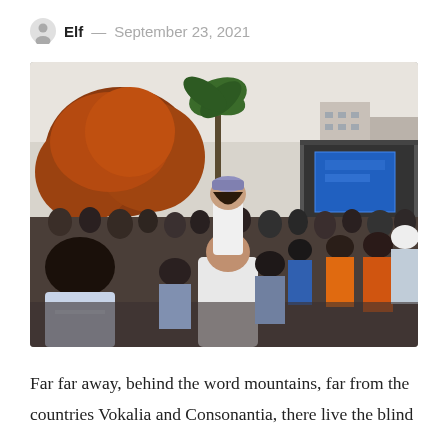Elf — September 23, 2021
[Figure (photo): A crowd at an outdoor concert or public event. In the foreground, a child sits on an adult's shoulders, both facing away from the camera toward a large stage with a blue LED screen. Orange-red trees and city buildings are visible in the background.]
Far far away, behind the word mountains, far from the countries Vokalia and Consonantia, there live the blind